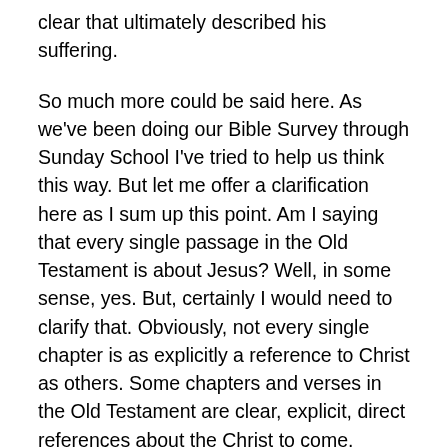clear that ultimately described his suffering.
So much more could be said here. As we've been doing our Bible Survey through Sunday School I've tried to help us think this way. But let me offer a clarification here as I sum up this point. Am I saying that every single passage in the Old Testament is about Jesus? Well, in some sense, yes. But, certainly I would need to clarify that. Obviously, not every single chapter is as explicitly a reference to Christ as others. Some chapters and verses in the Old Testament are clear, explicit, direct references about the Christ to come. Others have the overarching story of Christ and redemption somewhere in the backdrop. It's the story of Christ and his salvation that's the overarching story being developed in the Old Testament, and in the whole Bible. That means that for every Christian...